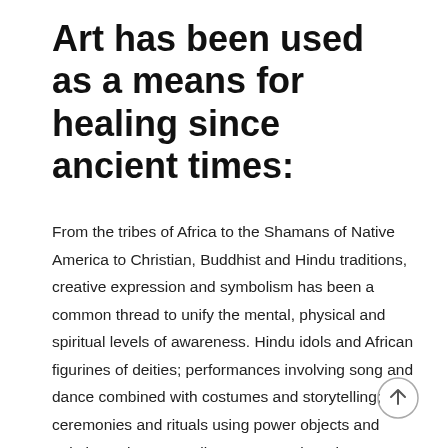Art has been used as a means for healing since ancient times:
From the tribes of Africa to the Shamans of Native America to Christian, Buddhist and Hindu traditions, creative expression and symbolism has been a common thread to unify the mental, physical and spiritual levels of awareness. Hindu idols and African figurines of deities; performances involving song and dance combined with costumes and storytelling; ceremonies and rituals using power objects and paintings; these are all some examples where